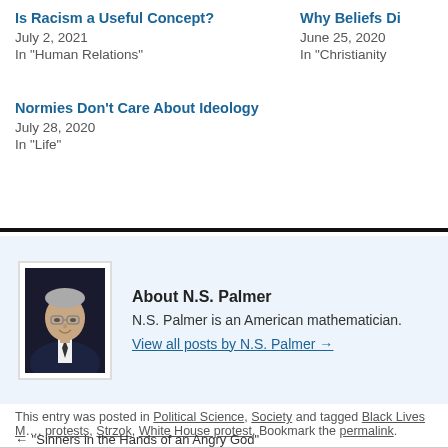Is Racism a Useful Concept?
July 2, 2021
In "Human Relations"
Why Beliefs Di
June 25, 2020
In "Christianity
Normies Don't Care About Ideology
July 28, 2020
In "Life"
About N.S. Palmer
N.S. Palmer is an American mathematician.
View all posts by N.S. Palmer →
This entry was posted in Political Science, Society and tagged Black Lives M…, protests, Strzok, White House protest. Bookmark the permalink.
← "Sinners in the Hands of an Angry God"